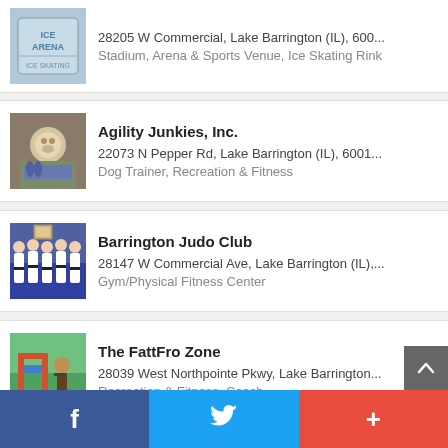28205 W Commercial, Lake Barrington (IL), 600... | Stadium, Arena & Sports Venue, Ice Skating Rink
Agility Junkies, Inc. | 22073 N Pepper Rd, Lake Barrington (IL), 6001... | Dog Trainer, Recreation & Fitness
Barrington Judo Club | 28147 W Commercial Ave, Lake Barrington (IL),... | Gym/Physical Fitness Center
The FattFro Zone | 28039 West Northpointe Pkwy, Lake Barrington... | Recreation & Fitness, Coach
Stonehenge Golf Club